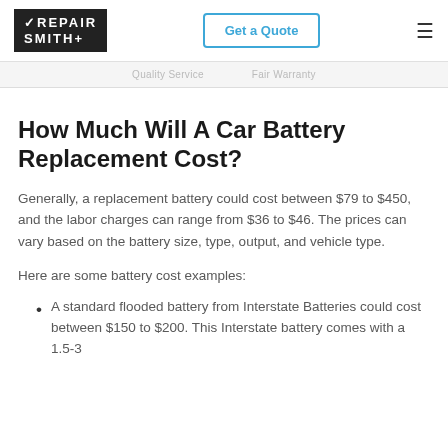RepairSmith | Get a Quote
Quality Service     Fair Warranty
How Much Will A Car Battery Replacement Cost?
Generally, a replacement battery could cost between $79 to $450, and the labor charges can range from $36 to $46. The prices can vary based on the battery size, type, output, and vehicle type.
Here are some battery cost examples:
A standard flooded battery from Interstate Batteries could cost between $150 to $200. This Interstate battery comes with a 1.5-3